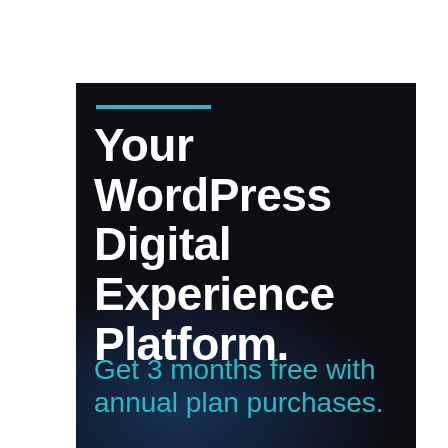[Figure (infographic): Dark advertisement banner with teal accent line, bold white headline 'Your WordPress Digital Experience Platform.' and teal subtext 'Get 3 months free with annual plan purchases.' on a near-black background with blue smoke effect at bottom.]
Your WordPress Digital Experience Platform.
Get 3 months free with annual plan purchases.